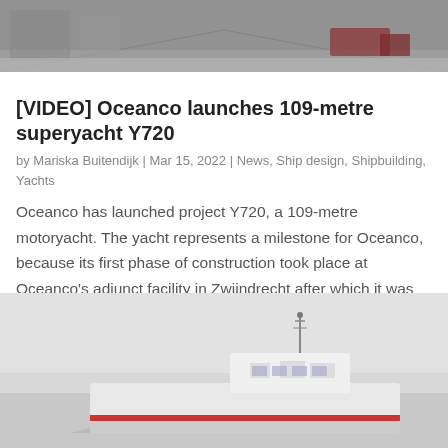[Figure (photo): Industrial shipyard or facility interior, dark/muted tones, wide shot]
[VIDEO] Oceanco launches 109-metre superyacht Y720
by Mariska Buitendijk | Mar 15, 2022 | News, Ship design, Shipbuilding, Yachts
Oceanco has launched project Y720, a 109-metre motoryacht. The yacht represents a milestone for Oceanco, because its first phase of construction took place at Oceanco's adjunct facility in Zwijndrecht after which it was outfitted in Alblasserdam. Its classically...
[Figure (photo): A white and red vessel/tugboat on water with overcast sky]